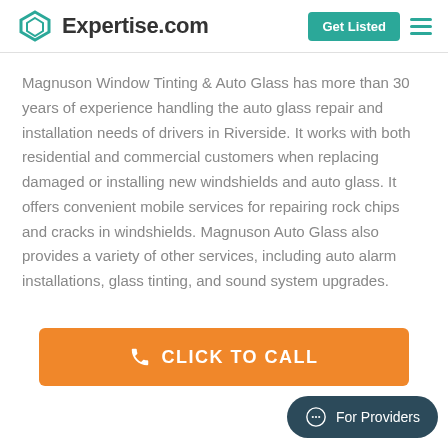Expertise.com | Get Listed
Magnuson Window Tinting & Auto Glass has more than 30 years of experience handling the auto glass repair and installation needs of drivers in Riverside. It works with both residential and commercial customers when replacing damaged or installing new windshields and auto glass. It offers convenient mobile services for repairing rock chips and cracks in windshields. Magnuson Auto Glass also provides a variety of other services, including auto alarm installations, glass tinting, and sound sound system upgrades.